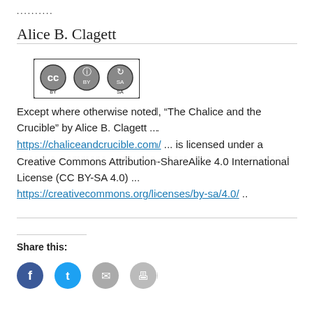..........
Alice B. Clagett
[Figure (logo): Creative Commons CC BY-SA license badge]
Except where otherwise noted, “The Chalice and the Crucible” by Alice B. Clagett ... https://chaliceandcrucible.com/ ... is licensed under a Creative Commons Attribution-ShareAlike 4.0 International License (CC BY-SA 4.0) ... https://creativecommons.org/licenses/by-sa/4.0/ ..
Share this:
[Figure (infographic): Social share icons: Facebook, Twitter, Email, Print]